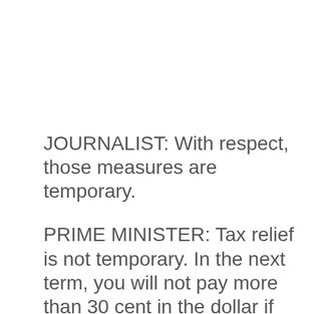JOURNALIST: With respect, those measures are temporary.
PRIME MINISTER: Tax relief is not temporary. In the next term, you will not pay more than 30 cent in the dollar if you earn anywhere between $45,000 and $200,000 a year. That is one of the biggest changes to our personal income tax system that our country has ever seen. That’s bringing it down for 32.5 cents to 30 cents for many and 37 cents down to 30